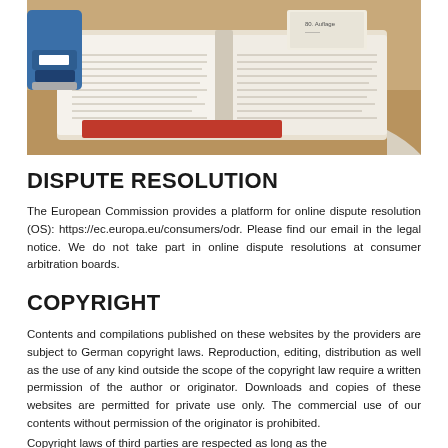[Figure (photo): Photo of open books/dictionaries and a stapler on a wooden desk surface. One book has a red cover visible beneath.]
DISPUTE RESOLUTION
The European Commission provides a platform for online dispute resolution (OS): https://ec.europa.eu/consumers/odr. Please find our email in the legal notice. We do not take part in online dispute resolutions at consumer arbitration boards.
COPYRIGHT
Contents and compilations published on these websites by the providers are subject to German copyright laws. Reproduction, editing, distribution as well as the use of any kind outside the scope of the copyright law require a written permission of the author or originator. Downloads and copies of these websites are permitted for private use only. The commercial use of our contents without permission of the originator is prohibited.
Copyright laws of third parties are respected as long as the